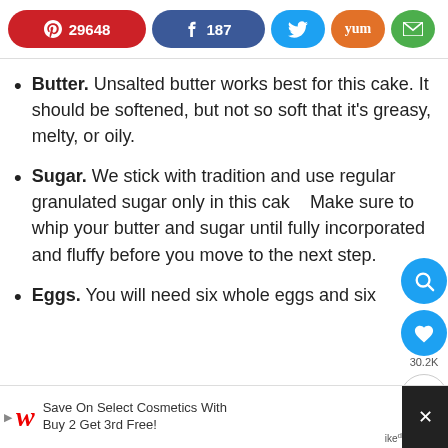[Figure (screenshot): Social sharing bar with Pinterest (29648), Facebook (187), Twitter, Yummly, and Email buttons]
Butter. Unsalted butter works best for this cake. It should be softened, but not so soft that it's greasy, melty, or oily.
Sugar. We stick with tradition and use regular granulated sugar only in this cake. Make sure to whip your butter and sugar until fully incorporated and fluffy before you move to the next step.
Eggs. You will need six whole eggs and six
[Figure (screenshot): Floating UI buttons: search (teal circle), heart/save (teal circle) with 30.2K count, share button]
[Figure (screenshot): Walgreens advertisement banner: Save On Select Cosmetics With Buy 2 Get 3rd Free!]